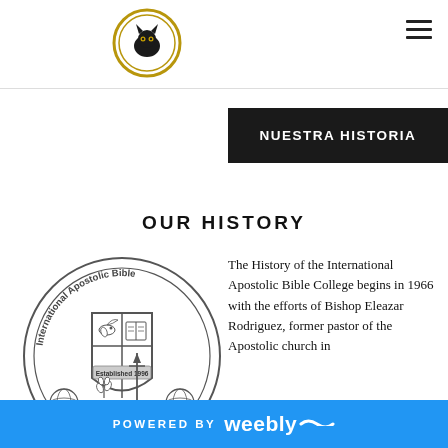International Apostolic Bible College website header with logo
NUESTRA HISTORIA
OUR HISTORY
[Figure (logo): International Apostolic Bible College seal/logo - circular seal with shield containing dove, book, wheat, and sword, text reading 'International Apostolic Bible College' and 'Established 1996', with globe icons at bottom]
The History of the International Apostolic Bible College begins in 1966 with the efforts of Bishop Eleazar Rodriguez, former pastor of the Apostolic church in
POWERED BY weebly